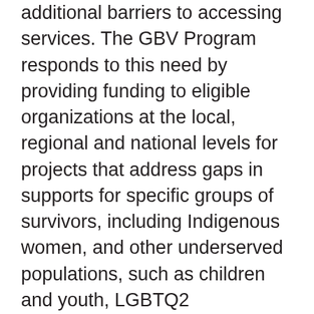additional barriers to accessing services. The GBV Program responds to this need by providing funding to eligible organizations at the local, regional and national levels for projects that address gaps in supports for specific groups of survivors, including Indigenous women, and other underserved populations, such as children and youth, LGBTQ2 communities, non-status/refugee/immigrant women, seniors, women living in official language minority communities, women living in northern, rural and remote communities, and women living with disabilities.